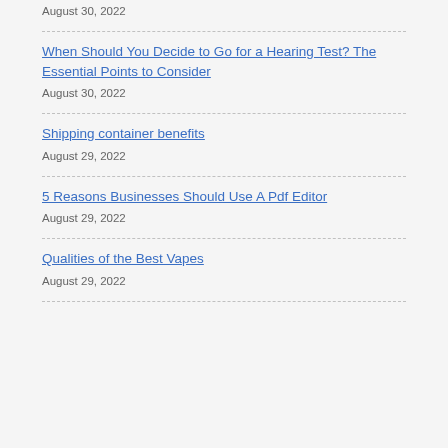August 30, 2022
When Should You Decide to Go for a Hearing Test? The Essential Points to Consider
August 30, 2022
Shipping container benefits
August 29, 2022
5 Reasons Businesses Should Use A Pdf Editor
August 29, 2022
Qualities of the Best Vapes
August 29, 2022